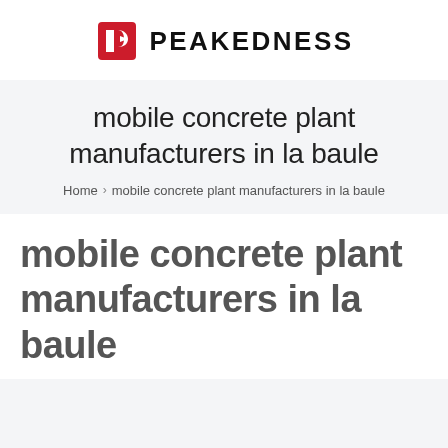[Figure (logo): Peakedness logo with red arrow P icon and bold black PEAKEDNESS text]
mobile concrete plant manufacturers in la baule
Home > mobile concrete plant manufacturers in la baule
mobile concrete plant manufacturers in la baule